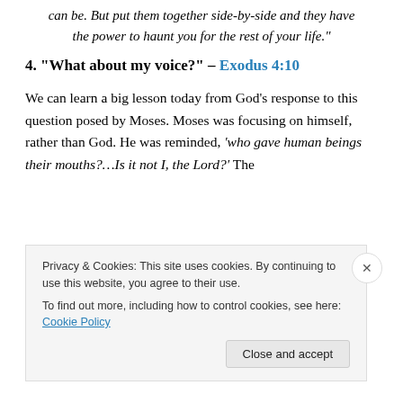can be. But put them together side-by-side and they have the power to haunt you for the rest of your life."
4. “What about my voice?” – Exodus 4:10
We can learn a big lesson today from God’s response to this question posed by Moses. Moses was focusing on himself, rather than God. He was reminded, ‘who gave human beings their mouths?…Is it not I, the Lord?’ The
Privacy & Cookies: This site uses cookies. By continuing to use this website, you agree to their use.
To find out more, including how to control cookies, see here: Cookie Policy
Close and accept